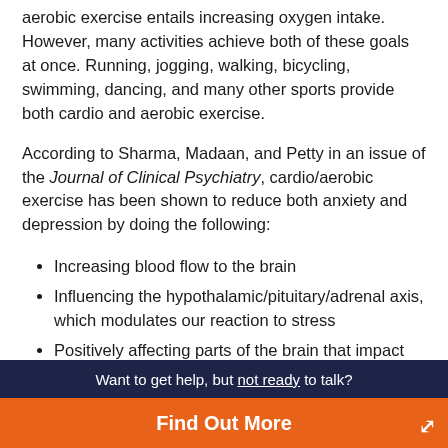aerobic exercise entails increasing oxygen intake. However, many activities achieve both of these goals at once. Running, jogging, walking, bicycling, swimming, dancing, and many other sports provide both cardio and aerobic exercise.
According to Sharma, Madaan, and Petty in an issue of the Journal of Clinical Psychiatry, cardio/aerobic exercise has been shown to reduce both anxiety and depression by doing the following:
Increasing blood flow to the brain
Influencing the hypothalamic/pituitary/adrenal axis, which modulates our reaction to stress
Positively affecting parts of the brain that impact mood and motivation such as the limbic system, the amygdala, and the hippocampus
Want to get help, but not ready to talk? Find Out More